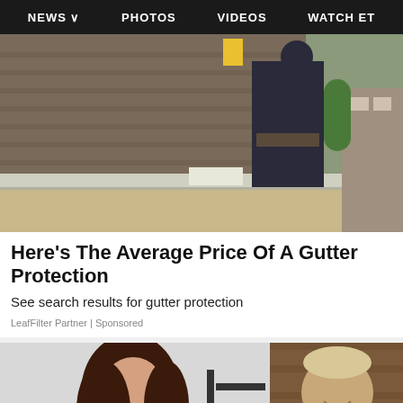NEWS  PHOTOS  VIDEOS  WATCH ET
[Figure (photo): Person cleaning or installing roof gutters on a house, wearing work gear and gloves, standing on a ladder near the roofline with shingles visible]
Here's The Average Price Of A Gutter Protection
See search results for gutter protection
LeafFilter Partner | Sponsored
[Figure (photo): Woman with dark brown hair at an event, partial signage visible in background]
[Figure (photo): Older man with light hair smiling, wooden background]